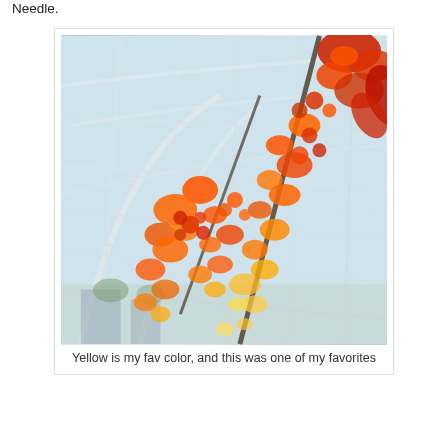Needle.
[Figure (photo): Photograph taken inside the Chihuly Garden and Glass greenhouse showing vibrant orange, red, and yellow blown glass flower sculptures hanging from the white metal and glass ceiling structure. The glass art cascades dramatically from upper right to center, with various petal and flower shapes visible against the glass ceiling panels.]
Yellow is my fav color, and this was one of my favorites